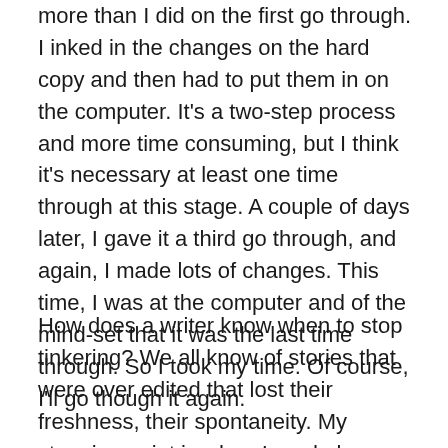more than I did on the first go through. I inked in the changes on the hard copy and then had to put them in on the computer. It's a two-step process and more time consuming, but I think it's necessary at least one time through at this stage. A couple of days later, I gave it a third go through, and again, I made lots of changes. This time, I was at the computer and of the mind-set that it was the last time through. So I took my time. Of course, I'll go though it again.
How does a writer know when to stop tinkering? We all know of stories that were over edited that lost their freshness, their spontaneity. My stopping point is when I read along without wanting to stop and make changes. I can usually feel when it's ready. As a test, I let it sit for a week or more and then read it through again. If I don't feel